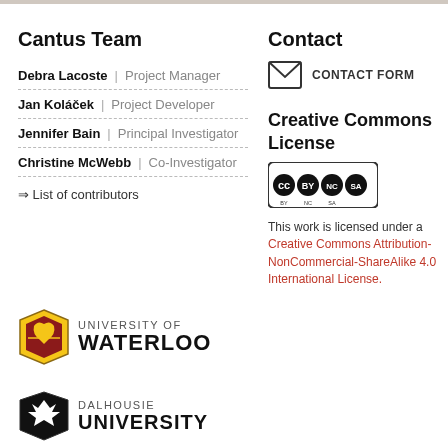Cantus Team
Debra Lacoste | Project Manager
Jan Koláček | Project Developer
Jennifer Bain | Principal Investigator
Christine McWebb | Co-Investigator
⇒ List of contributors
Contact
CONTACT FORM
Creative Commons License
[Figure (logo): Creative Commons BY NC SA license badge]
This work is licensed under a Creative Commons Attribution-NonCommercial-ShareAlike 4.0 International License.
[Figure (logo): University of Waterloo logo with shield crest and wordmark]
[Figure (logo): Dalhousie University logo with eagle crest and wordmark]